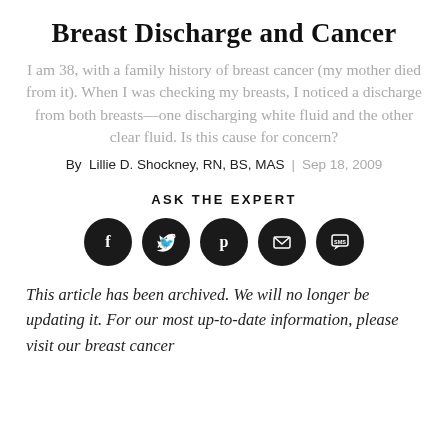Breast Discharge and Cancer
I am 38, with a family history of breast cancer (my mother died from it). When I was checking my breasts, I noticed a discharge from both breasts—one discharging white fluid and the other clear fluid. Is this cause for concern?
By Lillie D. Shockney, RN, BS, MAS | Sep 18, 2009
ASK THE EXPERT
[Figure (infographic): Five circular social media sharing icons in dark/black: Facebook (f), Twitter (bird), Pinterest (p), Email (envelope), SMS (speech bubble with SMS text)]
This article has been archived. We will no longer be updating it. For our most up-to-date information, please visit our breast cancer